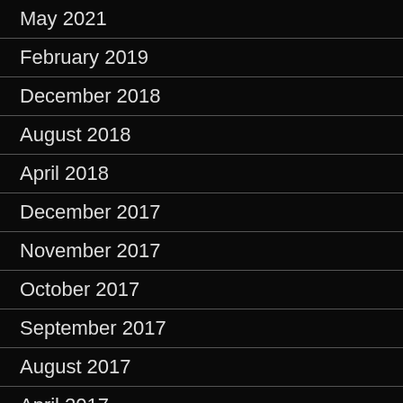May 2021
February 2019
December 2018
August 2018
April 2018
December 2017
November 2017
October 2017
September 2017
August 2017
April 2017
February 2017
January 2017